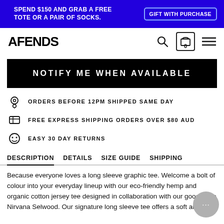SPEND $150 AND GRAB A FREE TOTE OR A PAIR OF SOCKS. GIFT WITH PURCHASE
AFENDS
NOTIFY ME WHEN AVAILABLE
ORDERS BEFORE 12PM SHIPPED SAME DAY
FREE EXPRESS SHIPPING ORDERS OVER $80 AUD
EASY 30 DAY RETURNS
DESCRIPTION   DETAILS   SIZE GUIDE   SHIPPING
Because everyone loves a long sleeve graphic tee. Welcome a bolt of colour into your everyday lineup with our eco-friendly hemp and organic cotton jersey tee designed in collaboration with our good mate Nirvana Selwood. Our signature long sleeve tee offers a soft and